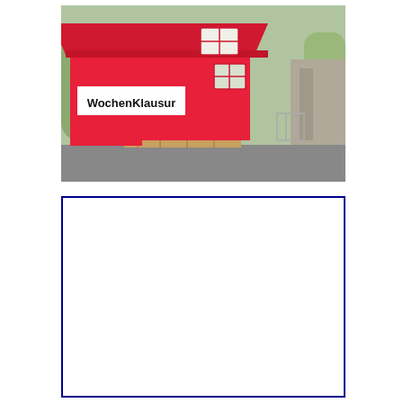[Figure (photo): A red wooden shed/cabin painted entirely red with a white rectangular sign on the front reading 'WochenKlausur' in bold black text. The cabin has a red pitched roof, two windows visible, and is elevated on wooden pallets. Trees and a concrete structure are visible in the background. The photo is taken outdoors in daylight.]
[Figure (other): An empty white rectangle with a dark blue border, no content inside.]